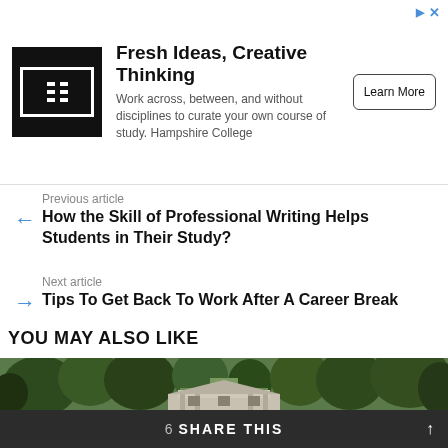[Figure (other): Hampshire College advertisement banner with logo, tagline 'Fresh Ideas, Creative Thinking', description text, and Learn More button]
Previous article
← How the Skill of Professional Writing Helps Students in Their Study?
Next article
→ Tips To Get Back To Work After A Career Break
YOU MAY ALSO LIKE
[Figure (photo): Aerial view of a large estate mansion surrounded by trees and green lawns]
6 SHARE THIS